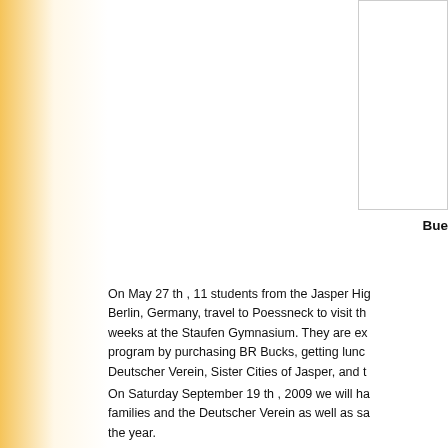Bue
On May 27 th , 11 students from the Jasper High school left Berlin, Germany, travel to Poessneck to visit the exchange students and spent 2 weeks at the Staufen Gymnasium. They are excited about support for the program by purchasing BR Bucks, getting lunches from BR Bucks, and Deutscher Verein, Sister Cities of Jasper, and t
On Saturday September 19 th , 2009 we will ha families and the Deutscher Verein as well as sa the year.